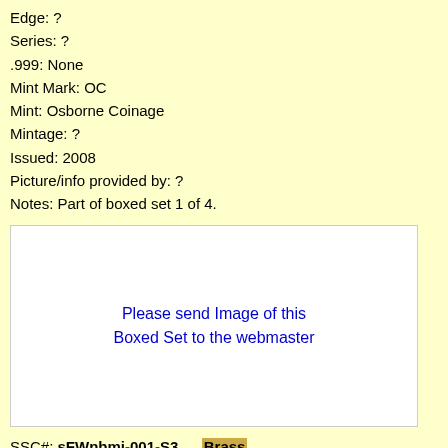Edge:  ?
Series:  ?
.999:  None
Mint Mark:  OC
Mint:  Osborne Coinage
Mintage:  ?
Issued:  2008
Picture/info provided by:  ?
Notes:  Part of boxed set 1 of 4.
[Figure (other): White placeholder box with blue text reading: Please send Image of this Boxed Set to the webmaster]
SSC#:  sFWnbmi-001-S3 — Brass
Casino:  Four Winds Casino
City:  New Buffalo, MI
Denomination:  ?
Design side:  Duck